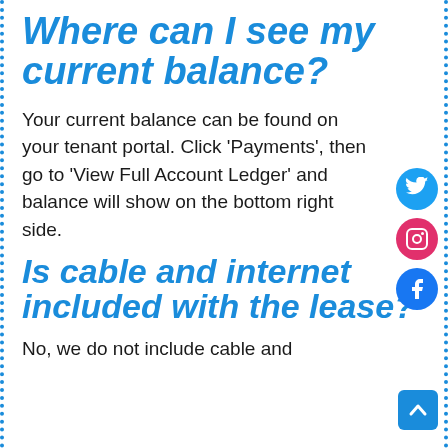Where can I see my current balance?
Your current balance can be found on your tenant portal. Click ‘Payments’, then go to ‘View Full Account Ledger’ and balance will show on the bottom right side.
Is cable and internet included with the lease?
No, we do not include cable and